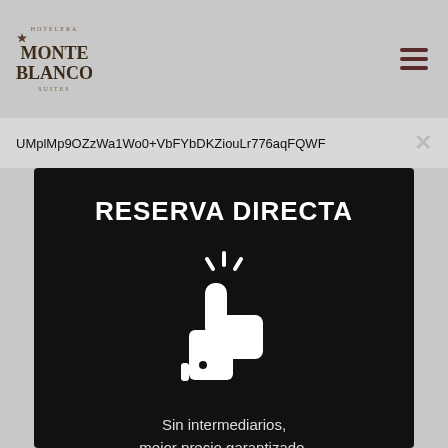[Figure (logo): Hotelera Monte Blanco Suites logo with stacked text in brown serif font]
UMplMp9OZzWa1Wo0+VbFYbDKZiouLr776aqFQWF
[Figure (infographic): Black card with white text reading RESERVA DIRECTA, a thumbs up icon with sparkles, text 'Sin intermediarios, mejor precio garantizado.', and 'Web Oficial' with a checkmark]